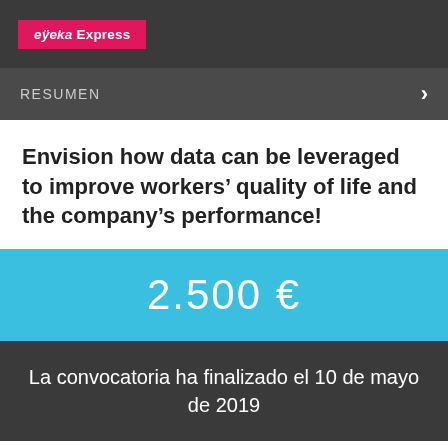eÿeka Express
RESUMEN
Envision how data can be leveraged to improve workers' quality of life and the company's performance!
2.500 €
La convocatoria ha finalizado el 10 de mayo de 2019